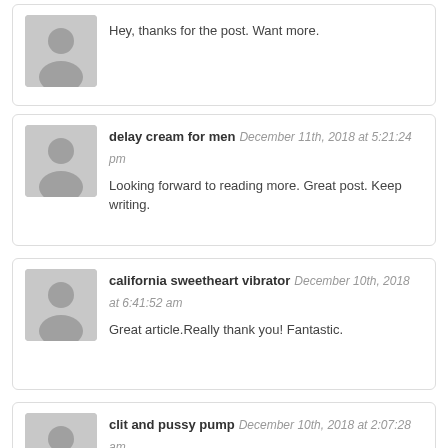Hey, thanks for the post. Want more.
delay cream for men December 11th, 2018 at 5:21:24 pm
Looking forward to reading more. Great post. Keep writing.
california sweetheart vibrator December 10th, 2018 at 6:41:52 am
Great article.Really thank you! Fantastic.
clit and pussy pump December 10th, 2018 at 2:07:28 am
Wow, great blog article. Want more.